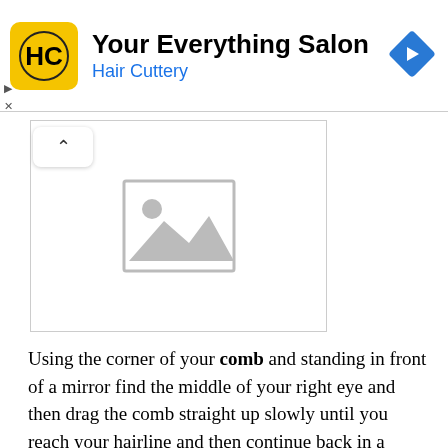[Figure (logo): Hair Cuttery advertisement banner with HC logo on yellow background, 'Your Everything Salon' title, 'Hair Cuttery' subtitle in blue, and a blue navigation arrow diamond icon on the right]
[Figure (photo): Placeholder image with gray image icon (mountain and sun) in center of a white bordered box]
Using the corner of your comb and standing in front of a mirror find the middle of your right eye and then drag the comb straight up slowly until you reach your hairline and then continue back in a straight manner to achieve an even right part. A side part is great for longer face shapes because it creates the illusion of width.